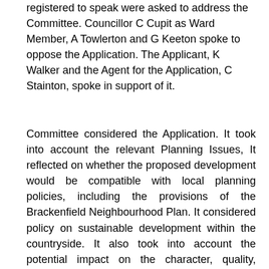registered to speak were asked to address the Committee. Councillor C Cupit as Ward Member, A Towlerton and G Keeton spoke to oppose the Application. The Applicant, K Walker and the Agent for the Application, C Stainton, spoke in support of it.
Committee considered the Application. It took into account the relevant Planning Issues, It reflected on whether the proposed development would be compatible with local planning policies, including the provisions of the Brackenfield Neighbourhood Plan. It considered policy on sustainable development within the countryside. It also took into account the potential impact on the character, quality, distinctiveness, important features and views of the landscape